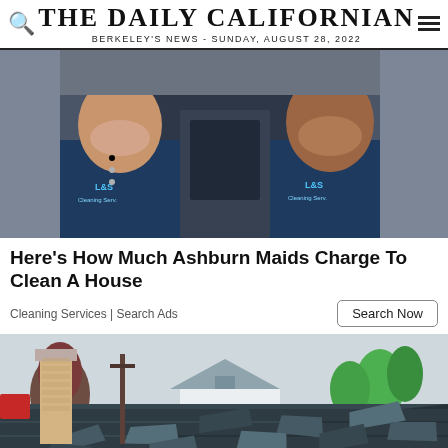THE DAILY CALIFORNIAN
BERKELEY'S NEWS - SUNDAY, AUGUST 28, 2022
[Figure (photo): Two smiling people wearing navy blue polo shirts with a company logo, standing near a car door]
Here's How Much Ashburn Maids Charge To Clean A House
Cleaning Services | Search Ads
[Figure (photo): Damaged roof with curling and peeling shingles, a brick chimney, and trees and houses in the background]